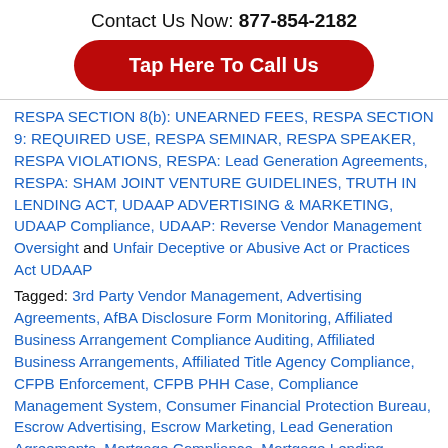Contact Us Now: 877-854-2182
[Figure (other): Red rounded button with white text: Tap Here To Call Us]
RESPA SECTION 8(b): UNEARNED FEES, RESPA SECTION 9: REQUIRED USE, RESPA SEMINAR, RESPA SPEAKER, RESPA VIOLATIONS, RESPA: Lead Generation Agreements, RESPA: SHAM JOINT VENTURE GUIDELINES, TRUTH IN LENDING ACT, UDAAP ADVERTISING & MARKETING, UDAAP Compliance, UDAAP: Reverse Vendor Management Oversight and Unfair Deceptive or Abusive Act or Practices Act UDAAP
Tagged: 3rd Party Vendor Management, Advertising Agreements, AfBA Disclosure Form Monitoring, Affiliated Business Arrangement Compliance Auditing, Affiliated Business Arrangements, Affiliated Title Agency Compliance, CFPB Enforcement, CFPB PHH Case, Compliance Management System, Consumer Financial Protection Bureau, Escrow Advertising, Escrow Marketing, Lead Generation Agreements, Mortgage Compliance, Mortgage Lending Advertising Monitoring, UDAAP Presentation, UDAAP Speaker and Unfair Deceptive Abusive Acts